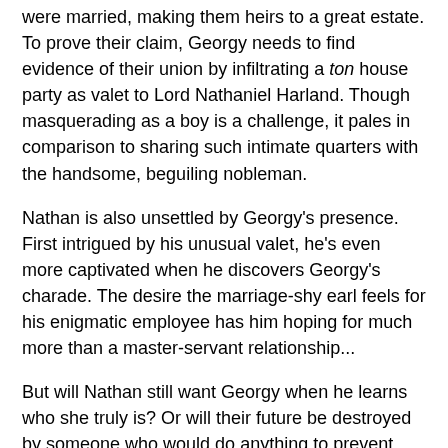were married, making them heirs to a great estate. To prove their claim, Georgy needs to find evidence of their union by infiltrating a ton house party as valet to Lord Nathaniel Harland. Though masquerading as a boy is a challenge, it pales in comparison to sharing such intimate quarters with the handsome, beguiling nobleman.
Nathan is also unsettled by Georgy's presence. First intrigued by his unusual valet, he's even more captivated when he discovers Georgy's charade. The desire the marriage-shy earl feels for his enigmatic employee has him hoping for much more than a master-servant relationship...
But will Nathan still want Georgy when he learns who she truly is? Or will their future be destroyed by someone who would do anything to prevent Georgy from uncovering the truth?
Joanna Chambers
Buy Site
http://joannachambers.com